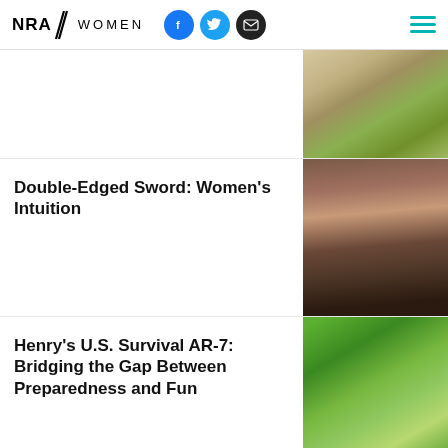NRA WOMEN
[Figure (photo): Close-up of a dog sniffing grass]
Double-Edged Sword: Women’s Intuition
[Figure (photo): Young woman in denim jacket leaning against a wooden door]
Henry’s U.S. Survival AR-7: Bridging the Gap Between Preparedness and Fun
[Figure (photo): Hands holding a rifle outdoors with green foliage]
The Secrets to Self-Sufficiency (and Peaches in Winter)
[Figure (photo): Three small thumbnail images side by side]